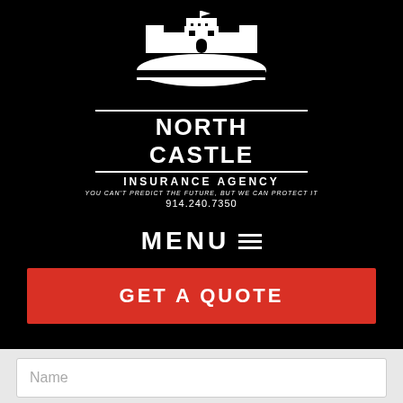[Figure (logo): North Castle Insurance Agency logo with castle illustration in white on black background]
MENU ≡
GET A QUOTE
Name
Erie Insurance - One of America's Best Insurance Companies